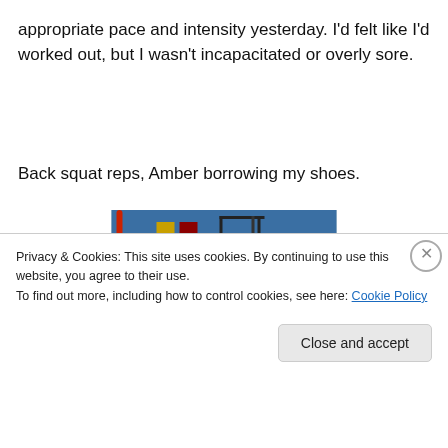appropriate pace and intensity yesterday. I'd felt like I'd worked out, but I wasn't incapacitated or overly sore.
Back squat reps, Amber borrowing my shoes.
[Figure (photo): Gym interior with squat racks, red resistance band on left, banners on blue wall, person standing in yellow shorts on right side]
Privacy & Cookies: This site uses cookies. By continuing to use this website, you agree to their use.
To find out more, including how to control cookies, see here: Cookie Policy
Close and accept